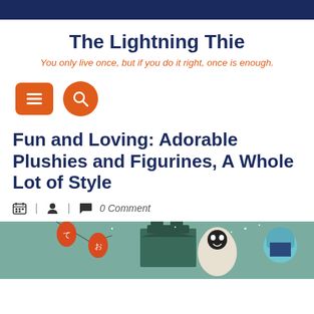The Lightning Thie
You only live once, but if you do it right, once is enough.
[Figure (other): Orange hamburger menu button (rounded rectangle) and orange circular search button with magnifying glass icon]
Fun and Loving: Adorable Plushies and Figurines, A Whole Lot of Style
| | 0 Comment
[Figure (illustration): Preview image showing anime/Studio Ghibli style characters including No-Face from Spirited Away, lanterns with Japanese characters, and other characters against a teal background]